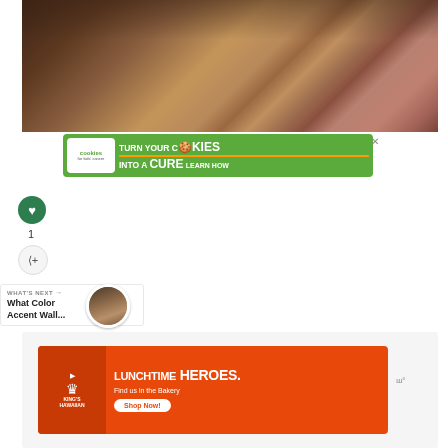[Figure (photo): Bedroom interior with hardwood floor, grey chair, red/terracotta bedding, and a plant on a side table]
[Figure (infographic): Advertisement: cookies for kids' cancer — turn your COOKIES into a CURE LEARN HOW, green background with white logo]
[Figure (infographic): Heart/like button (green circle with heart icon), like count '1', and share button]
1
WHAT'S NEXT → What Color Accent Wall...
[Figure (photo): Thumbnail of next article about accent wall colors]
[Figure (infographic): Advertisement: King's Hawaiian Lunchtime HEROES. Find us in the Bakery — Shop Now! Orange background with burger image]